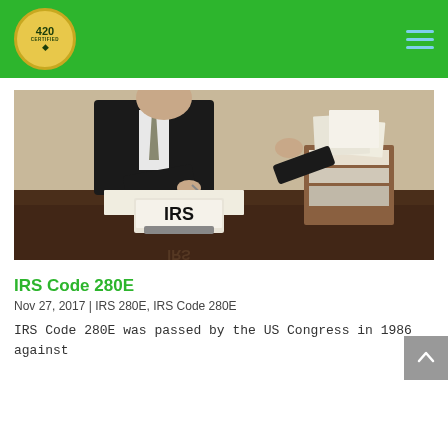420 Certified — navigation header with logo and hamburger menu
[Figure (photo): A person in a business suit sitting at a desk, writing on paper. An IRS nameplate sign sits prominently in the foreground on the desk, with a stack of binders and documents in the background.]
IRS Code 280E
Nov 27, 2017 | IRS 280E, IRS Code 280E
IRS Code 280E was passed by the US Congress in 1986 against